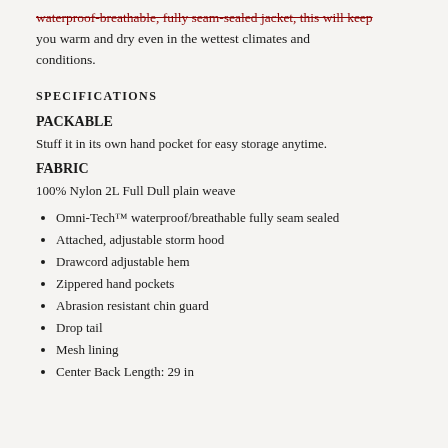waterproof-breathable, fully seam-sealed jacket, this will keep you warm and dry even in the wettest climates and conditions.
SPECIFICATIONS
PACKABLE
Stuff it in its own hand pocket for easy storage anytime.
FABRIC
100% Nylon 2L Full Dull plain weave
Omni-Tech™ waterproof/breathable fully seam sealed
Attached, adjustable storm hood
Drawcord adjustable hem
Zippered hand pockets
Abrasion resistant chin guard
Drop tail
Mesh lining
Center Back Length: 29 in